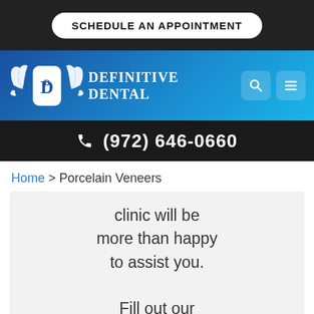SCHEDULE AN APPOINTMENT
[Figure (logo): Definitive Dental logo with winged tooth and company name]
(972) 646-0660
Home > Porcelain Veneers
clinic will be more than happy to assist you. Fill out our contact form or call us at (972) 646-0660.